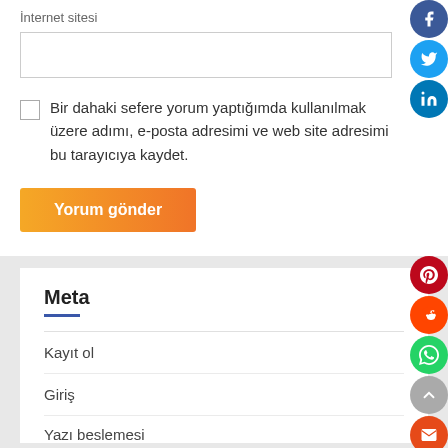İnternet sitesi
Bir dahaki sefere yorum yaptığımda kullanılmak üzere adımı, e-posta adresimi ve web site adresimi bu tarayıcıya kaydet.
Yorum gönder
Meta
Kayıt ol
Giriş
Yazı beslemesi